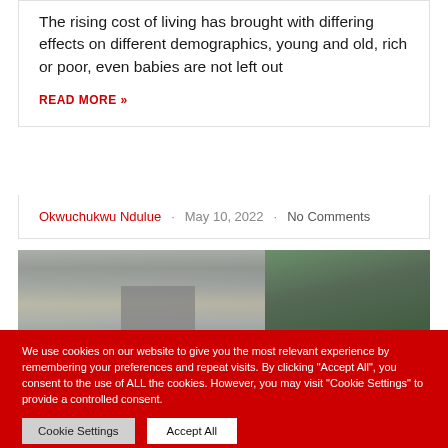The rising cost of living has brought with differing effects on different demographics, young and old, rich or poor, even babies are not left out
READ MORE »
Okwuchukwu Ndulue · May 10, 2022 · No Comments
[Figure (photo): Aerial view of cars in traffic with green trees/forest in background]
We use cookies on our website to give you the most relevant experience by remembering your preferences and repeat visits. By clicking "Accept All", you consent to the use of ALL the cookies. However, you may visit "Cookie Settings" to provide a controlled consent.